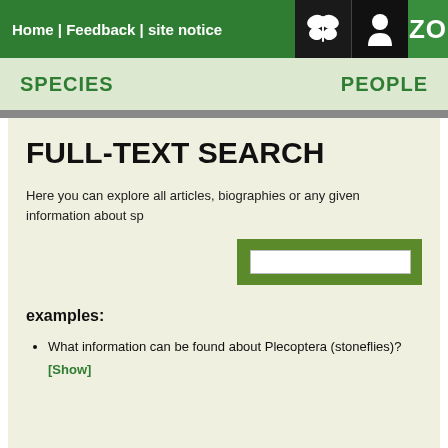Home | Feedback | site notice
SPECIES   PEOPLE
FULL-TEXT SEARCH
Here you can explore all articles, biographies or any given information about sp
What information can be found about Plecoptera (stoneflies)? [Show]